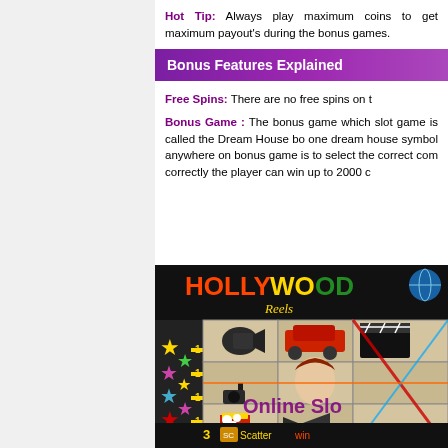Hot Tip: Always play maximum coins to get maximum payout's during the bonus games.
Bonus Features Explained
Free Spins: There are no free spins on t[his slot]
Bonus Game : The bonus game which [is featured in this] slot game is called the Dream House bo[nus]. [You need] one dream house symbol anywhere on [the reels to trigger the] bonus game is to select the correct com[bination]. [If done] correctly the player can win up to 2000 c[oins].
[Figure (screenshot): Hollywood Reels online slot machine screenshot showing slot reels with movie-themed symbols (cameras, film clapper, popcorn, car), colorful star column on left, 'Online Slots' watermark overlay, and bottom bar showing '3 Scatter win']